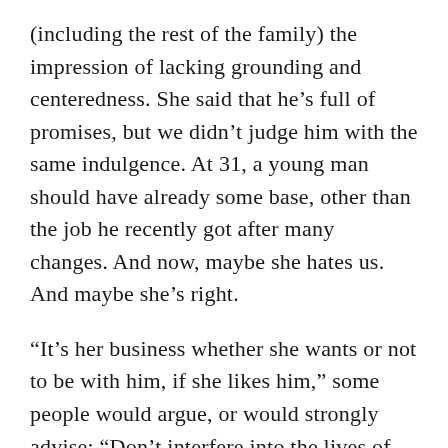(including the rest of the family) the impression of lacking grounding and centeredness. She said that he's full of promises, but we didn't judge him with the same indulgence. At 31, a young man should have already some base, other than the job he recently got after many changes. And now, maybe she hates us. And maybe she's right.
“It’s her business whether she wants or not to be with him, if she likes him,” some people would argue, or would strongly advise: “Don’t interfere into the lives of your adult children!” I know, I always did that to others, but it’s always easier to shower advice on others.